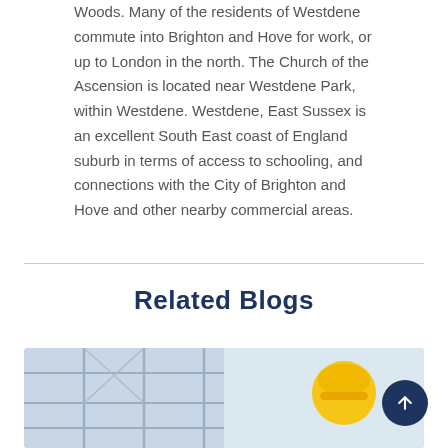Woods. Many of the residents of Westdene commute into Brighton and Hove for work, or up to London in the north. The Church of the Ascension is located near Westdene Park, within Westdene. Westdene, East Sussex is an excellent South East coast of England suburb in terms of access to schooling, and connections with the City of Brighton and Hove and other nearby commercial areas.
Related Blogs
[Figure (photo): A photo showing construction-related imagery including scaffolding and a yellow hard hat]